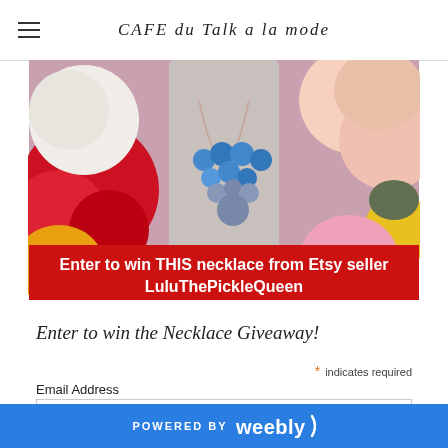CAFE du Talk a la mode
[Figure (photo): A photo of a blue beaded necklace on a mannequin neck, surrounded by colorful roses. A red banner at the bottom reads: Enter to win THIS necklace from Etsy seller LuluThePickleQueen]
Enter to win the Necklace Giveaway!
* indicates required
Email Address
POWERED BY weebly